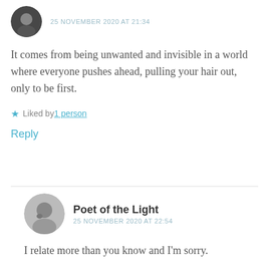25 NOVEMBER 2020 AT 21:34
It comes from being unwanted and invisible in a world where everyone pushes ahead, pulling your hair out, only to be first.
Liked by 1 person
Reply
Poet of the Light
25 NOVEMBER 2020 AT 22:54
I relate more than you know and I'm sorry.
Liked by 1 person